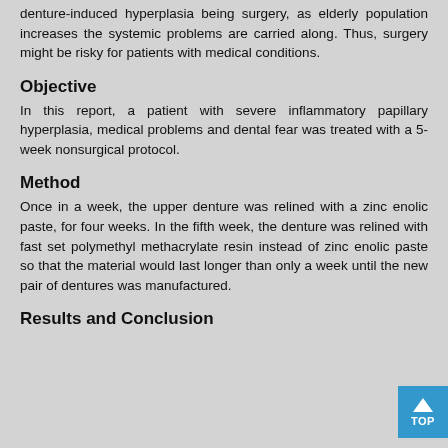denture-induced hyperplasia being surgery, as elderly population increases the systemic problems are carried along. Thus, surgery might be risky for patients with medical conditions.
Objective
In this report, a patient with severe inflammatory papillary hyperplasia, medical problems and dental fear was treated with a 5-week nonsurgical protocol.
Method
Once in a week, the upper denture was relined with a zinc enolic paste, for four weeks. In the fifth week, the denture was relined with fast set polymethyl methacrylate resin instead of zinc enolic paste so that the material would last longer than only a week until the new pair of dentures was manufactured.
Results and Conclusion